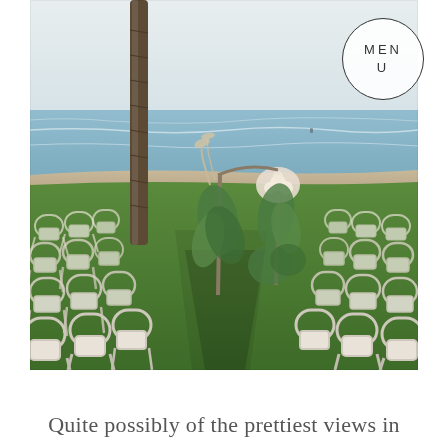[Figure (photo): An outdoor beach wedding ceremony setup with rows of white bentwood chairs arranged on green grass on both sides of a central aisle. A floral arch stands at the far end near the ocean. The background shows a calm blue ocean and hazy sky. A tall palm tree trunk is visible on the left side.]
MEN U
Quite possibly of the prettiest views in